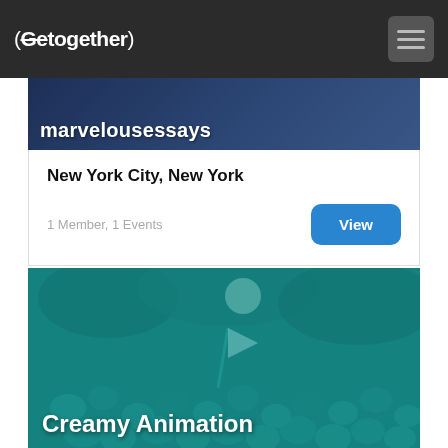(Gettogether)
marvelousessays
New York City, New York
1 Member, 1 Events
View
[Figure (photo): Teal-tinted crowd photo with people raising arms and a flag, label reads Creamy Animation]
Creamy Animation